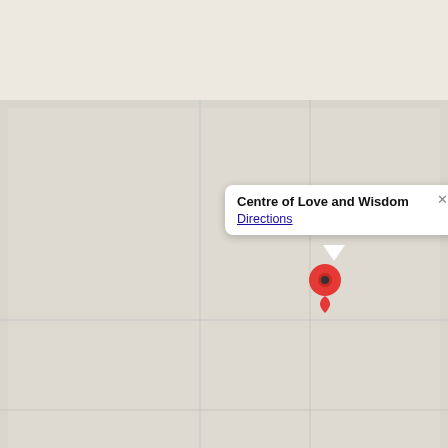[Figure (map): Google Maps screenshot showing a location pin for 'Centre of Love and Wisdom' with a popup info window displaying the place name and a 'Directions' link. The map background is light grey.]
e: hello@colaw.love
© infinite love